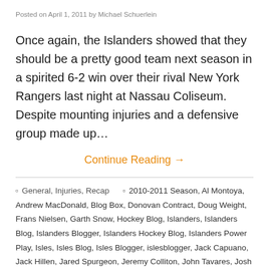Posted on April 1, 2011 by Michael Schuerlein
Once again, the Islanders showed that they should be a pretty good team next season in a spirited 6-2 win over their rival New York Rangers last night at Nassau Coliseum. Despite mounting injuries and a defensive group made up…
Continue Reading →
General, Injuries, Recap   2010-2011 Season, Al Montoya, Andrew MacDonald, Blog Box, Donovan Contract, Doug Weight, Frans Nielsen, Garth Snow, Hockey Blog, Islanders, Islanders Blog, Islanders Blogger, Islanders Hockey Blog, Islanders Power Play, Isles, Isles Blog, Isles Blogger, islesblogger, Jack Capuano, Jack Hillen, Jared Spurgeon, Jeremy Colliton, John Tavares, Josh Bailey, Justin